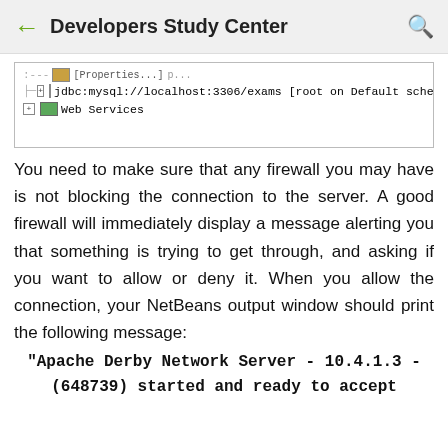Developers Study Center
[Figure (screenshot): IDE screenshot showing a tree view with jdbc:mysql://localhost:3306/exams [root on Default schema] and Web Services nodes]
You need to make sure that any firewall you may have is not blocking the connection to the server. A good firewall will immediately display a message alerting you that something is trying to get through, and asking if you want to allow or deny it. When you allow the connection, your NetBeans output window should print the following message:
"Apache Derby Network Server - 10.4.1.3 - (648739) started and ready to accept